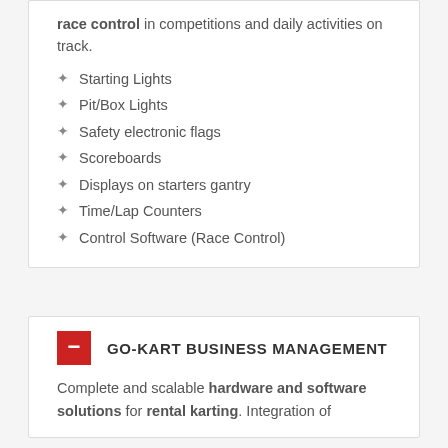race control in competitions and daily activities on track.
Starting Lights
Pit/Box Lights
Safety electronic flags
Scoreboards
Displays on starters gantry
Time/Lap Counters
Control Software (Race Control)
GO-KART BUSINESS MANAGEMENT
Complete and scalable hardware and software solutions for rental karting. Integration of